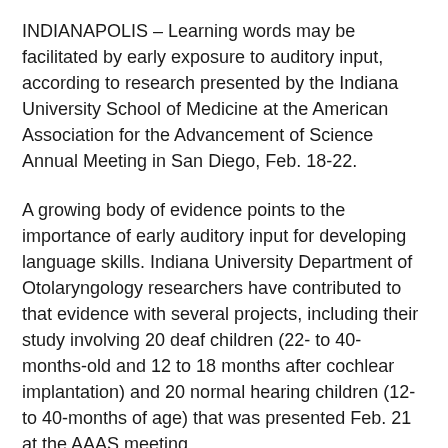INDIANAPOLIS – Learning words may be facilitated by early exposure to auditory input, according to research presented by the Indiana University School of Medicine at the American Association for the Advancement of Science Annual Meeting in San Diego, Feb. 18-22.
A growing body of evidence points to the importance of early auditory input for developing language skills. Indiana University Department of Otolaryngology researchers have contributed to that evidence with several projects, including their study involving 20 deaf children (22- to 40-months-old and 12 to 18 months after cochlear implantation) and 20 normal hearing children (12- to 40-months of age) that was presented Feb. 21 at the AAAS meeting.
The study's principal author, Derek Houston, Ph.D., associate professor and Philip F. Holton Scholar at the IU School of Medicine, said the study found that deaf children's word-learning skills were strongly affected by their early auditory experience.